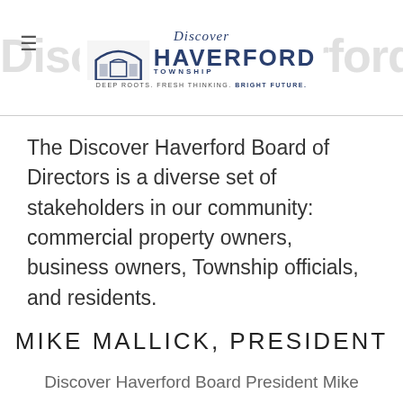Discover Haverford Board (logo + background title)
The Discover Haverford Board of Directors is a diverse set of stakeholders in our community: commercial property owners, business owners, Township officials, and residents.
MIKE MALLICK, PRESIDENT
Discover Haverford Board President Mike